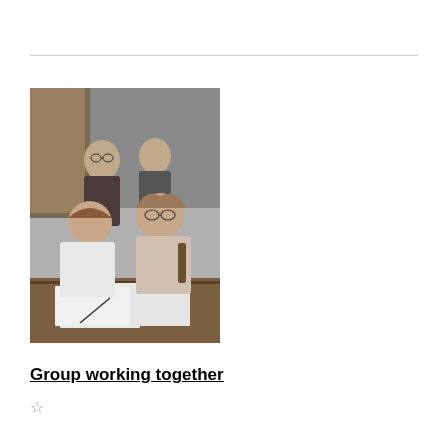[Figure (photo): Black and white photograph of four women grouped together. Two women are seated at a table in the foreground, with papers/documents in front of them. Two women stand behind them. The setting appears to be an office or meeting room with a chalkboard visible in the background.]
Group working together
☆